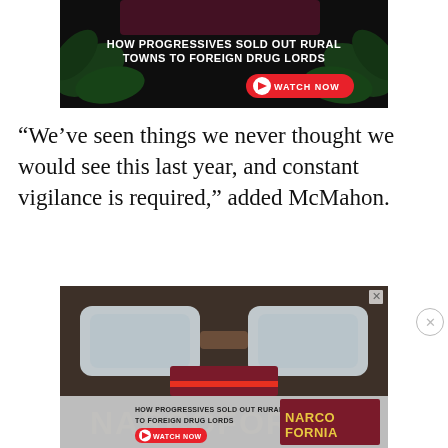[Figure (illustration): Advertisement banner showing cannabis leaves background with text 'HOW PROGRESSIVES SOLD OUT RURAL TOWNS TO FOREIGN DRUG LORDS' and a red 'WATCH NOW' button]
“We’ve seen things we never thought we would see this last year, and constant vigilance is required,” added McMahon.
[Figure (illustration): Advertisement showing close-up of sunglasses reflection, passport, and Narcofornia branding with 'HOW PROGRESSIVES SOLD OUT RURAL TOWNS TO FOREIGN DRUG LORDS' text and WATCH NOW button]